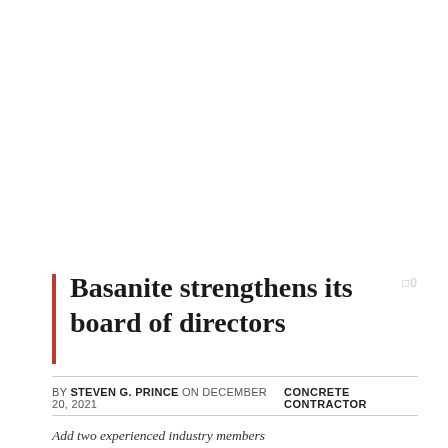Basanite strengthens its board of directors
BY STEVEN G. PRINCE ON DECEMBER 20, 2021    CONCRETE CONTRACTOR
Add two experienced industry members